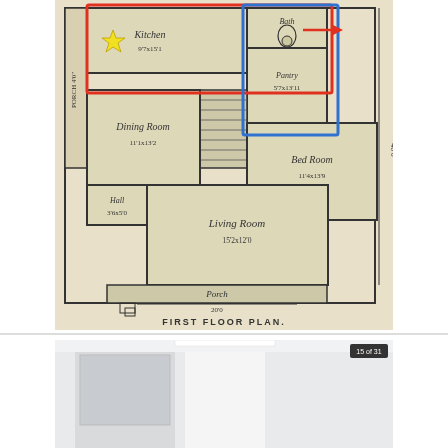[Figure (engineering-diagram): Vintage architectural first floor plan drawing on tan/cream paper with black ink. The plan shows: Kitchen (9'7x15'1), Bath, Pantry (5'7x13'11), Dining Room (11'1x13'2), Bed Room (11'4x13'9), Hall (3'6x5'0), Living Room (15'2x12'0), Porch (4'0) on left side, Porch (20'0) at bottom, total depth 40'0. A red rectangle highlights the Kitchen and Bath area. A blue rectangle highlights the Bath/Pantry area on the right. A yellow star marker is placed near the Kitchen label. A red arrow points right from the Bath area. Label at bottom reads FIRST FLOOR PLAN.]
[Figure (photo): Partial photograph of a modern white bathroom interior showing ceiling, walls, and what appears to be a mirror or glass panel. A small badge in the upper right reads '15 of 31'.]